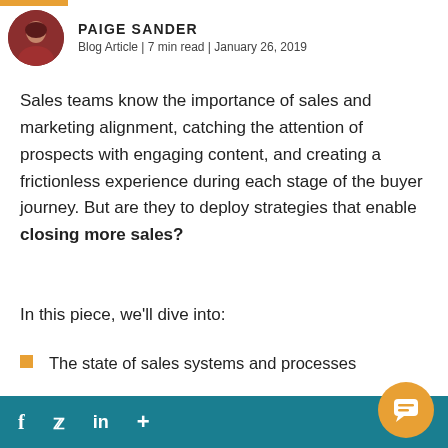PAIGE SANDER | Blog Article | 7 min read | January 26, 2019
Sales teams know the importance of sales and marketing alignment, catching the attention of prospects with engaging content, and creating a frictionless experience during each stage of the buyer journey. But are they to deploy strategies that enable closing more sales?
In this piece, we'll dive into:
The state of sales systems and processes
Common bottlenecks and pain points
f  twitter  in  +